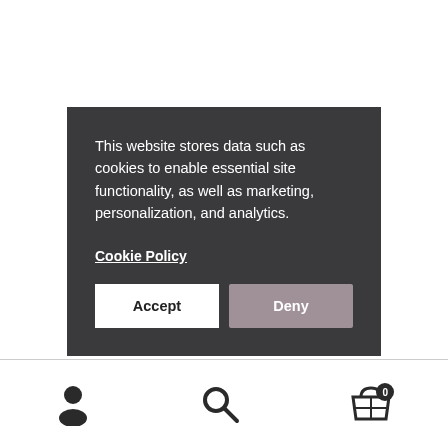This website stores data such as cookies to enable essential site functionality, as well as marketing, personalization, and analytics.
Cookie Policy
[Figure (screenshot): Bottom navigation bar with user account icon, search icon, and shopping basket icon with badge showing 0]